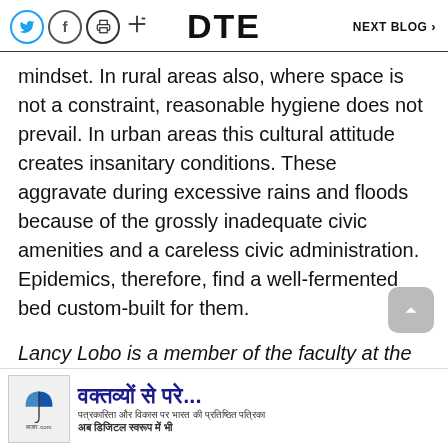DTE   NEXT BLOG >
mindset. In rural areas also, where space is not a constraint, reasonable hygiene does not prevail. In urban areas this cultural attitude creates insanitary conditions. These aggravate during excessive rains and floods because of the grossly inadequate civic amenities and a careless civic administration. Epidemics, therefore, find a well-fermented bed custom-built for them.
Lancy Lobo is a member of the faculty at the Centre for Social Studies, Surat
[Figure (other): Advertisement banner in Hindi with umbrella logo and text 'वक्तव्यों से परे...']